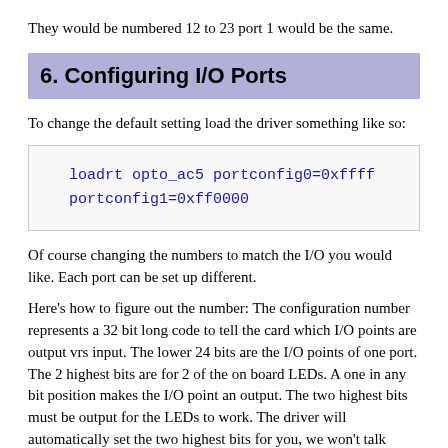They would be numbered 12 to 23 port 1 would be the same.
6. Configuring I/O Ports
To change the default setting load the driver something like so:
Of course changing the numbers to match the I/O you would like. Each port can be set up different.
Here's how to figure out the number: The configuration number represents a 32 bit long code to tell the card which I/O points are output vrs input. The lower 24 bits are the I/O points of one port. The 2 highest bits are for 2 of the on board LEDs. A one in any bit position makes the I/O point an output. The two highest bits must be output for the LEDs to work. The driver will automatically set the two highest bits for you, we won't talk about them.
The easiest way to do this is to fire up the calculator under